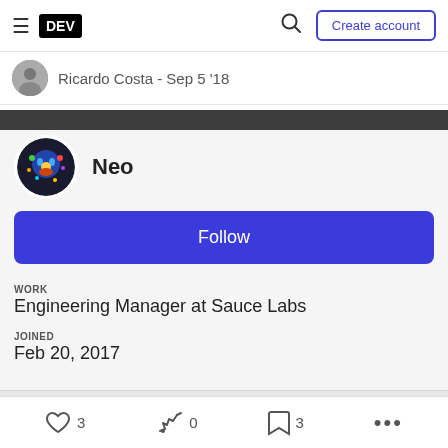DEV | Create account
Ricardo Costa - Sep 5 '18
Neo
Follow
WORK
Engineering Manager at Sauce Labs
JOINED
Feb 20, 2017
3  0  3  ...